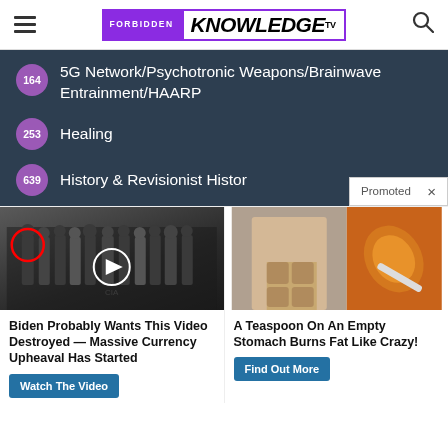FORBIDDEN KNOWLEDGE TV
164 5G Network/Psychotronic Weapons/Brainwave Entrainment/HAARP
253 Healing
639 History & Revisionist History
[Figure (photo): Group of people in suits standing on CIA floor seal, with red circle highlighting one person and a video play button overlay]
Biden Probably Wants This Video Destroyed — Massive Currency Upheaval Has Started
Watch The Video
[Figure (photo): Woman with visible abs next to a spoon of orange spice powder]
A Teaspoon On An Empty Stomach Burns Fat Like Crazy!
Find Out More